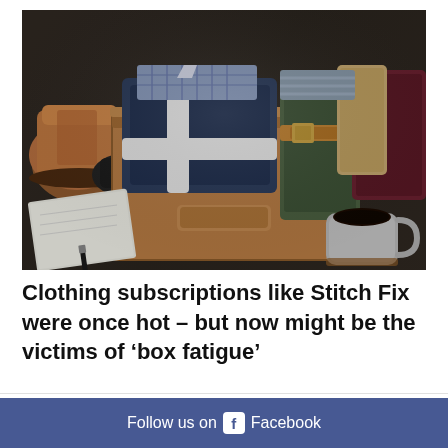[Figure (photo): A cardboard subscription box open on a dark wooden table, containing folded men's clothing including a navy jacket and plaid shirt tied with a white ribbon. Surrounding items include brown leather boots on the left, green pants and a belt on the right, a notebook and pen in the front-left, a grey coffee mug on the front-right, and burgundy/tan pants in back-right.]
Clothing subscriptions like Stitch Fix were once hot – but now might be the victims of ‘box fatigue’
Follow us on Facebook